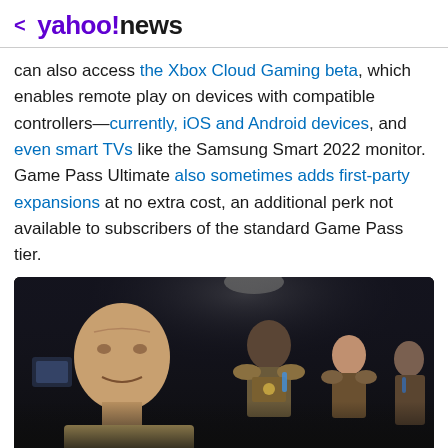< yahoo!news
can also access the Xbox Cloud Gaming beta, which enables remote play on devices with compatible controllers—currently, iOS and Android devices, and even smart TVs like the Samsung Smart 2022 monitor. Game Pass Ultimate also sometimes adds first-party expansions at no extra cost, an additional perk not available to subscribers of the standard Game Pass tier.
[Figure (photo): Screenshot from a video game showing an older man in the foreground and armored characters in the background in a dark sci-fi setting]
View comments
[Figure (infographic): Social sharing icons: Facebook, Twitter, Mail]